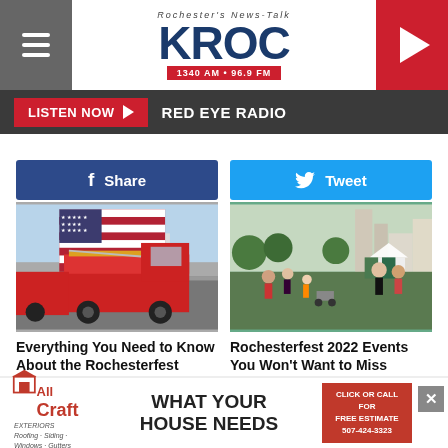Rochester's News-Talk KROC 1340 AM • 96.9 FM
LISTEN NOW ▶  RED EYE RADIO
Share
Tweet
[Figure (photo): Fire truck with large American flag in a parade on a city street]
[Figure (photo): Crowd of people at an outdoor festival with city skyline in background]
Everything You Need to Know About the Rochesterfest Parade on Saturday
Rochesterfest 2022 Events You Won't Want to Miss
[Figure (photo): Partially visible outdoor scene at bottom left]
[Figure (photo): Partially visible outdoor scene at bottom right]
All Craft EXTERIORS — WHAT YOUR HOUSE NEEDS — CLICK OR CALL FOR FREE ESTIMATE 507-424-3323 — BUILT ON TRUST!